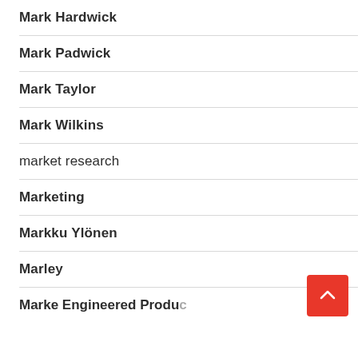Mark Hardwick
Mark Padwick
Mark Taylor
Mark Wilkins
market research
Marketing
Markku Ylönen
Marley
Marke Engineered Products